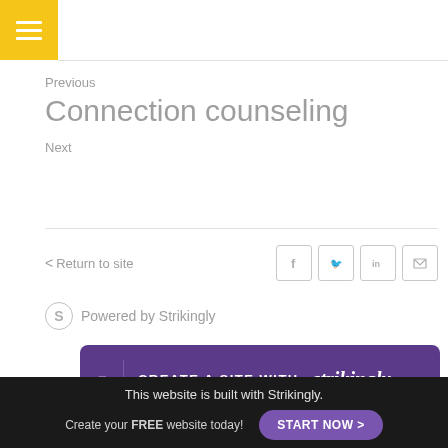[Figure (logo): Yellow square hamburger menu button with three white horizontal lines]
Previous
Connection counseling
Next
< Return to site
[Figure (other): Social share icons: Facebook, Twitter, LinkedIn, Email]
Powered by Strikingly
[Figure (other): Purple banner: CREATE A SITE WITH strikingly]
This website is built with Strikingly.
Create your FREE website today!
START NOW >